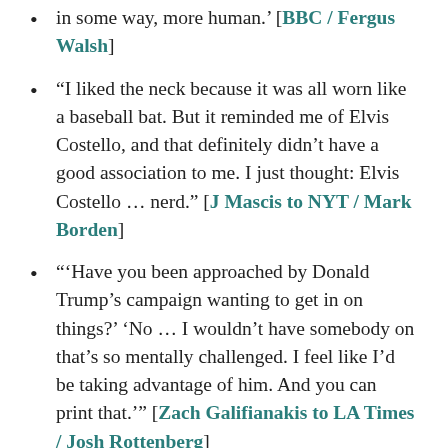in some way, more human.' [BBC / Fergus Walsh]
"I liked the neck because it was all worn like a baseball bat. But it reminded me of Elvis Costello, and that definitely didn't have a good association to me. I just thought: Elvis Costello ... nerd." [J Mascis to NYT / Mark Borden]
"'Have you been approached by Donald Trump's campaign wanting to get in on things?' 'No ... I wouldn't have somebody on that's so mentally challenged. I feel like I'd be taking advantage of him. And you can print that.'" [Zach Galifianakis to LA Times / Josh Rottenberg]
"At a time when both liberals and conservatives have become exquisitely aware of income inequality and its ills, the seemingly placid, cold,